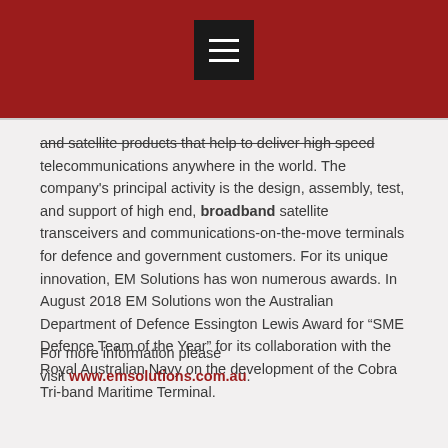[Navigation menu bar with hamburger icon]
and satellite products that help to deliver high speed telecommunications anywhere in the world. The company's principal activity is the design, assembly, test, and support of high end, broadband satellite transceivers and communications-on-the-move terminals for defence and government customers. For its unique innovation, EM Solutions has won numerous awards. In August 2018 EM Solutions won the Australian Department of Defence Essington Lewis Award for “SME Defence Team of the Year” for its collaboration with the Royal Australian Navy on the development of the Cobra Tri-band Maritime Terminal.
For more information please visit www.emsolutions.com.au.